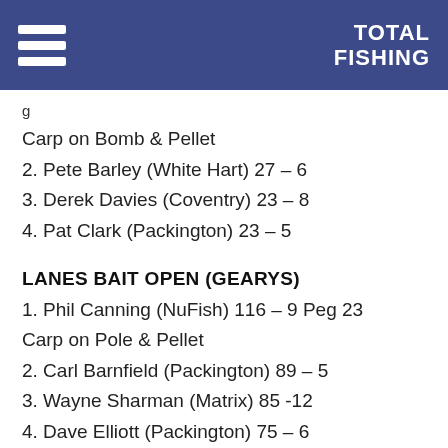TOTAL FISHING
g
Carp on Bomb & Pellet
2. Pete Barley (White Hart) 27 – 6
3. Derek Davies (Coventry) 23 – 8
4. Pat Clark (Packington) 23 – 5
LANES BAIT OPEN (GEARYS)
1. Phil Canning (NuFish) 116 – 9 Peg 23
Carp on Pole & Pellet
2. Carl Barnfield (Packington) 89 – 5
3. Wayne Sharman (Matrix) 85 -12
4. Dave Elliott (Packington) 75 – 6
SOLIHULL ANGLING CENTRE
WEDNESDAY OPEN